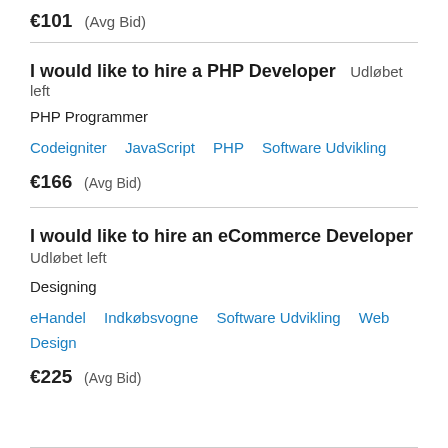€101  (Avg Bid)
I would like to hire a PHP Developer   Udløbet left
PHP Programmer
Codeigniter   JavaScript   PHP   Software Udvikling
€166  (Avg Bid)
I would like to hire an eCommerce Developer
Udløbet left
Designing
eHandel   Indkøbsvogne   Software Udvikling   Web Design
€225  (Avg Bid)